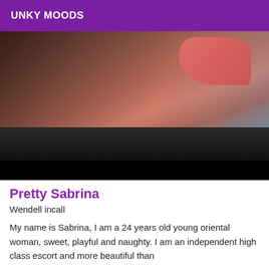UNKY MOODS
[Figure (photo): A partially visible photo showing a person lying down, with dark skin tones and a pink/red patterned fabric visible in the upper right. The lower portion of the image fades to dark gray and black.]
Pretty Sabrina
Wendell incall
My name is Sabrina, I am a 24 years old young oriental woman, sweet, playful and naughty. I am an independent high class escort and more beautiful than